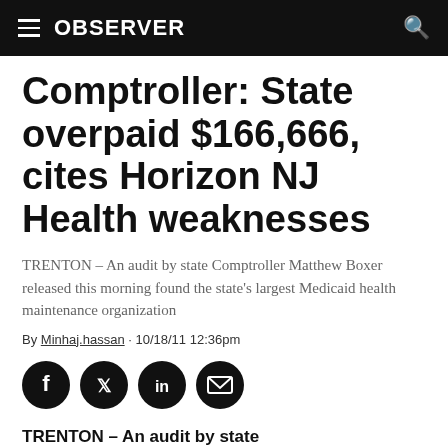OBSERVER
Comptroller: State overpaid $166,666, cites Horizon NJ Health weaknesses
TRENTON – An audit by state Comptroller Matthew Boxer released this morning found the state's largest Medicaid health maintenance organization
By Minhaj.hassan · 10/18/11 12:36pm
[Figure (infographic): Social share buttons: Facebook, Twitter, LinkedIn, Email]
TRENTON – An audit by state